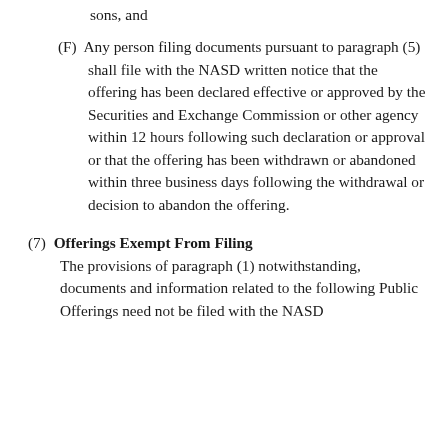sons, and
(F) Any person filing documents pursuant to paragraph (5) shall file with the NASD written notice that the offering has been declared effective or approved by the Securities and Exchange Commission or other agency within 12 hours following such declaration or approval or that the offering has been withdrawn or abandoned within three business days following the withdrawal or decision to abandon the offering.
(7) Offerings Exempt From Filing
The provisions of paragraph (1) notwithstanding, documents and information related to the following Public Offerings need not be filed with the NASD